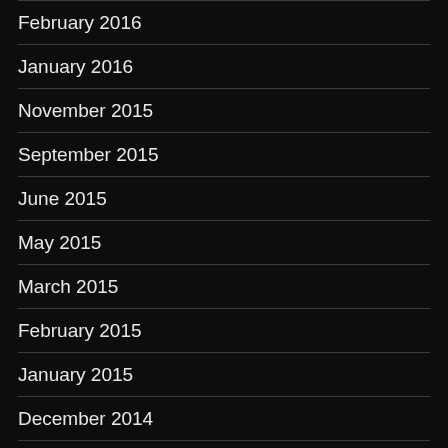February 2016
January 2016
November 2015
September 2015
June 2015
May 2015
March 2015
February 2015
January 2015
December 2014
November 2014
October 2014